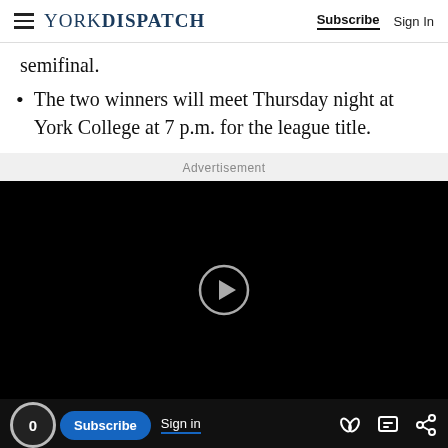YORK DISPATCH | Subscribe | Sign In
semifinal.
The two winners will meet Thursday night at York College at 7 p.m. for the league title.
Advertisement
[Figure (screenshot): Black video player with a circular play button in the center]
[Figure (infographic): Video player bottom bar with comment count (0), Subscribe button, Sign in link, and share icons]